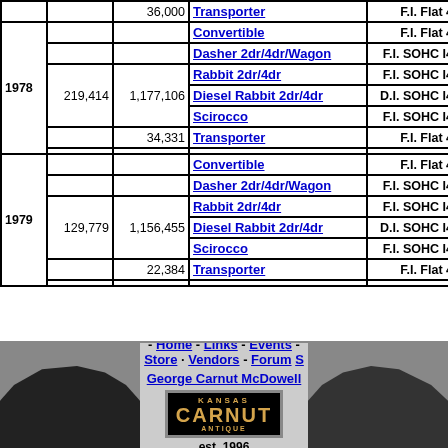| Year | Sales | Cumulative | Model | Engine | Octane |  |
| --- | --- | --- | --- | --- | --- | --- |
|  |  | 36,000 | Transporter | F.I. Flat 4 | 94.5 |  |
| 1978 |  |  | Convertible | F.I. Flat 4 | 94.5 |  |
|  |  |  | Dasher 2dr/4dr/Wagon | F.I. SOHC I4 | 96.7 | 20 |
|  | 219,414 | 1,177,106 | Rabbit 2dr/4dr | F.I. SOHC I4 | 94.4 |  |
|  |  |  | Diesel Rabbit 2dr/4dr | D.I. SOHC I4 | 94.4 |  |
|  |  |  | Scirocco | F.I. SOHC I4 | 94.4 |  |
|  |  | 34,331 | Transporter | F.I. Flat 4 | 94.5 |  |
| 1979 |  |  | Convertible | F.I. Flat 4 | 94.5 |  |
|  |  |  | Dasher 2dr/4dr/Wagon | F.I. SOHC I4 | 96.7 | 20 |
|  | 129,779 | 1,156,455 | Rabbit 2dr/4dr | F.I. SOHC I4 | 94.4 |  |
|  |  |  | Diesel Rabbit 2dr/4dr | D.I. SOHC I4 | 94.4 |  |
|  |  |  | Scirocco | F.I. SOHC I4 | 94.4 |  |
|  |  | 22,384 | Transporter | F.I. Flat 4 | 94.5 |  |
Last Update: 07/24/11 Hits:
[Figure (screenshot): Bottom navigation banner with car photos, Carnut logo, navigation links (Home, Links, Events, Store, Vendors, Forum), George Carnut McDowell name, est. 1996]